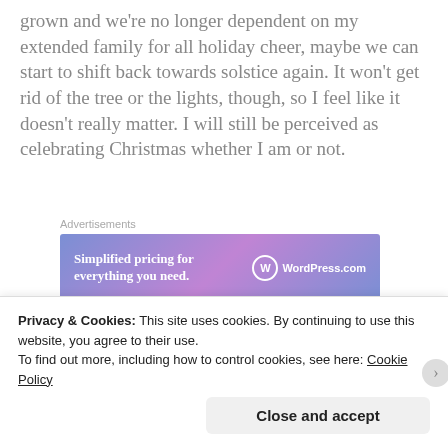grown and we're no longer dependent on my extended family for all holiday cheer, maybe we can start to shift back towards solstice again. It won't get rid of the tree or the lights, though, so I feel like it doesn't really matter. I will still be perceived as celebrating Christmas whether I am or not.
[Figure (other): WordPress.com advertisement banner with gradient purple/blue background. Text reads 'Simplified pricing for everything you need.' with WordPress.com logo.]
Perhaps the answer is just to continue to push the
Privacy & Cookies: This site uses cookies. By continuing to use this website, you agree to their use. To find out more, including how to control cookies, see here: Cookie Policy